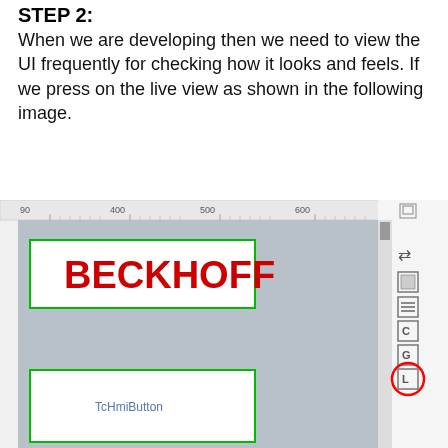STEP 2:
When we are developing then we need to view the UI frequently for checking how it looks and feels. If we press on the live view as shown in the following image.
[Figure (screenshot): Screenshot of a UI development tool showing a canvas with a BECKHOFF label (red text on white background with green border) and a TcHmiButton element (white rectangle with green border). A ruler is visible at the top. On the right side there is a vertical toolbar with icons; the bottom icon (live view) is circled in red.]